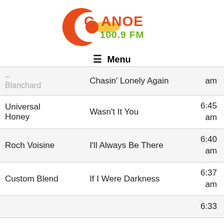[Figure (logo): Canoe 100.9 FM radio station logo with orange C and paddle graphic and green 100.9 FM text]
≡ Menu
| Artist | Song | Time |
| --- | --- | --- |
| Blanchard | Chasin' Lonely Again | am |
| Universal Honey | Wasn't It You | 6:45 am |
| Roch Voisine | I'll Always Be There | 6:40 am |
| Custom Blend | If I Were Darkness | 6:37 am |
|  |  | 6:33 |